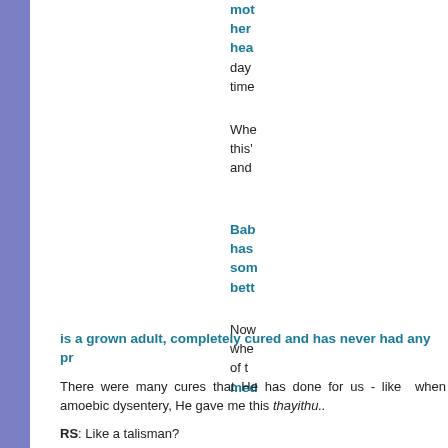mot her hea day time
Whe this' and
Bab has som bett
Now whe of th med
is a grown adult, completely cured and has never had any pr
There were many cures that He has done for us - like when amoebic dysentery, He gave me this thayithu..
RS: Like a talisman?